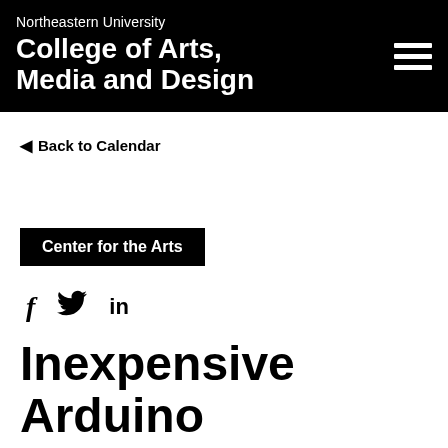Northeastern University College of Arts, Media and Design
Back to Calendar
Center for the Arts
[Figure (other): Social media icons: Facebook (f), Twitter (bird), LinkedIn (in)]
Inexpensive Arduino Projects for the Theatre